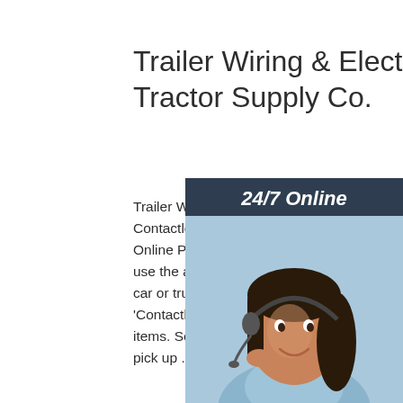Trailer Wiring & Electrical at Tractor Supply Co.
Trailer Wiring & Electrical at Tractor Supply Co. Contactless Curbside Pickup! Learn More. Online Pickup Curbside! Buy Online and use the app when you arrive. We'll bring it car or truck. While shopping online, select 'Contactless Curbside Pickup In Store' for items. Select the store where you would like pick up ...
[Figure (illustration): Customer service representative with headset, dark background with '24/7 Online' text, 'Click here for free chat!' text, and orange QUOTATION button]
Get Price